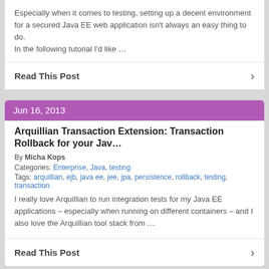Especially when it comes to testing, setting up a decent environment for a secured Java EE web application isn't always an easy thing to do.
In the following tutorial I'd like …
Read This Post
Jun 16, 2013
Arquillian Transaction Extension: Transaction Rollback for your Jav…
By Micha Kops
Categories: Enterprise, Java, testing
Tags: arquillian, ejb, java ee, jee, jpa, persistence, rollback, testing, transaction
I really love Arquillian to run integration tests for my Java EE applications – especially when running on different containers – and I also love the Arquillian tool stack from …
Read This Post
Apr 26, 2012
Arquillian Tutorial: Writing Java EE 6 Integration Tests and more..
By Micha Kops
Categories: Enterprise, Java, testing
Tags: arquillian, cdi, drone, ejb, glassfish, integration test, java ee,